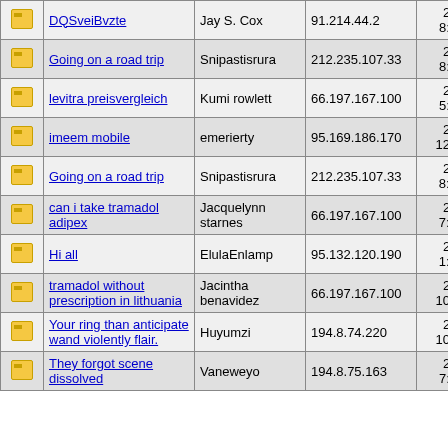|  | Title | Author | IP | Date | Replies |
| --- | --- | --- | --- | --- | --- |
| [icon] | DQSveiBvzte | Jay S. Cox | 91.214.44.2 | 2/15/2010 8:51:30 AM | 0 |
| [icon] | Going on a road trip | Snipastisrura | 212.235.107.33 | 2/15/2010 8:17:31 AM | 0 |
| [icon] | levitra preisvergleich | Kumi rowlett | 66.197.167.100 | 2/15/2010 5:28:35 AM | 0 |
| [icon] | imeem mobile | emerierty | 95.169.186.170 | 2/15/2010 12:00:17 AM | 0 |
| [icon] | Going on a road trip | Snipastisrura | 212.235.107.33 | 2/14/2010 8:23:53 PM | 0 |
| [icon] | can i take tramadol adipex | Jacquelynn starnes | 66.197.167.100 | 2/14/2010 7:34:37 PM | 0 |
| [icon] | Hi all | ElulaEnlamp | 95.132.120.190 | 2/14/2010 1:09:43 PM | 0 |
| [icon] | tramadol without prescription in lithuania | Jacintha benavidez | 66.197.167.100 | 2/14/2010 10:54:47 AM | 0 |
| [icon] | Your ring than anticipate wand violently flair. | Huyumzi | 194.8.74.220 | 2/14/2010 10:00:49 AM | 0 |
| [icon] | They forgot scene dissolved | Vaneweyo | 194.8.75.163 | 2/14/2010 7:25:26 AM | 0 |